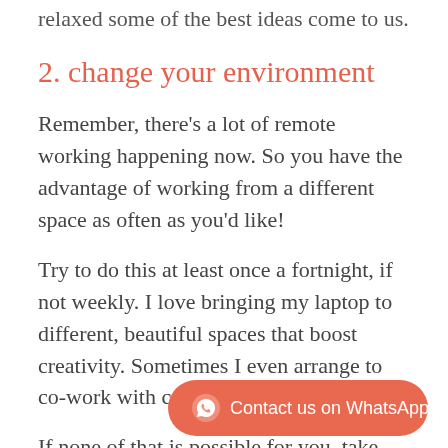relaxed some of the best ideas come to us.
2. change your environment
Remember, there's a lot of remote working happening now. So you have the advantage of working from a different space as often as you'd like!
Try to do this at least once a fortnight, if not weekly.  I love bringing my laptop to different, beautiful spaces that boost creativity.  Sometimes I even arrange to co-work with colleagues or friends.
If none of that is possible for you, take advantage of your days off and find somewhere that's not in your regular space.
[Figure (other): Contact us on WhatsApp button with WhatsApp icon]